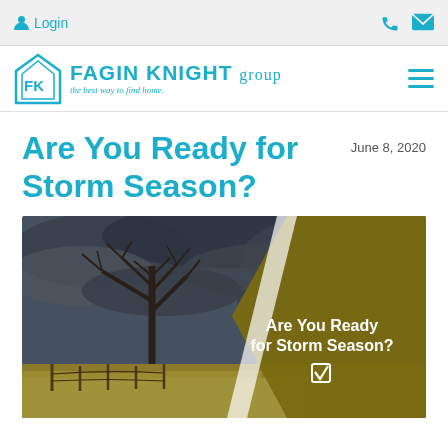Login
[Figure (logo): Fagin Knight Group logo with house icon and teal text. Tagline: the best way to find home.]
Are You Ready for Storm Season?
June 8, 2020
[Figure (photo): Hero image showing a bare dead tree against dramatic stormy dark clouds, with a fence visible. Right side has a dark olive/gold triangular overlay with white bold text reading 'Are You Ready for Storm Season?' and a checkbox icon.]